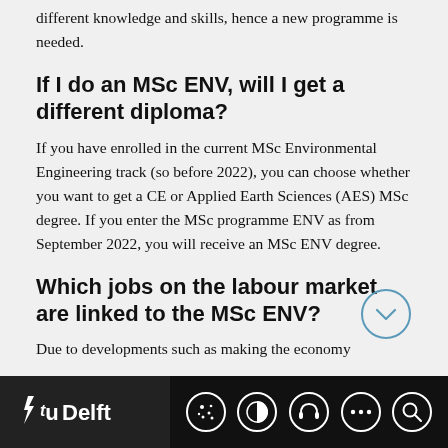different knowledge and skills, hence a new programme is needed.
If I do an MSc ENV, will I get a different diploma?
If you have enrolled in the current MSc Environmental Engineering track (so before 2022), you can choose whether you want to get a CE or Applied Earth Sciences (AES) MSc degree. If you enter the MSc programme ENV as from September 2022, you will receive an MSc ENV degree.
Which jobs on the labour market are linked to the MSc ENV?
Due to developments such as making the economy
[Figure (other): Circular chevron/down-arrow button (outline circle with down chevron inside)]
TU Delft logo and navigation icons: cookie, contrast, accessibility, more options, search